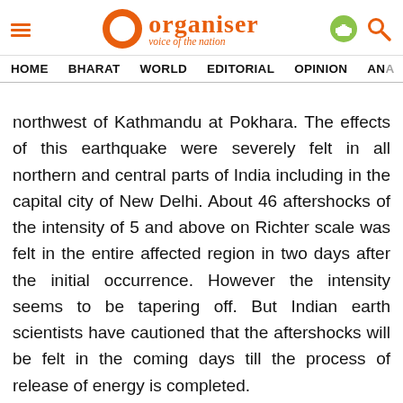Organiser — voice of the nation
HOME   BHARAT   WORLD   EDITORIAL   OPINION   ANA
northwest of Kathmandu at Pokhara. The effects of this earthquake were severely felt in all northern and central parts of India including in the capital city of New Delhi. About 46 aftershocks of the intensity of 5 and above on Richter scale was felt in the entire affected region in two days after the initial occurrence. However the intensity seems to be tapering off. But Indian earth scientists have cautioned that the aftershocks will be felt in the coming days till the process of release of energy is completed.
Even though there are deaths, casualties and damages at home, India has taken up the onus of